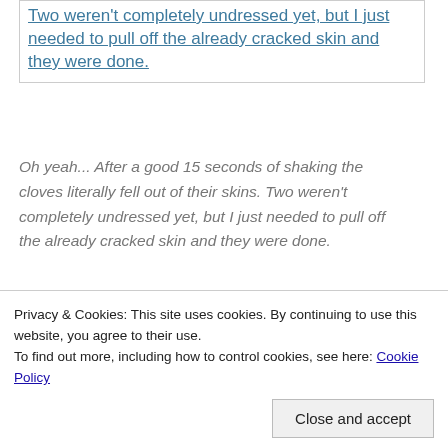Two weren't completely undressed yet, but I just needed to pull off the already cracked skin and they were done.
Oh yeah... After a good 15 seconds of shaking the cloves literally fell out of their skins. Two weren't completely undressed yet, but I just needed to pull off the already cracked skin and they were done.
[Figure (photo): Broken image with alt text: Your fingers still get a bit sticky removing the cloves from the pile of skins, but when trying to peel an entire head of garlic... I've never had it go so quickly and with so little...]
Privacy & Cookies: This site uses cookies. By continuing to use this website, you agree to their use. To find out more, including how to control cookies, see here: Cookie Policy